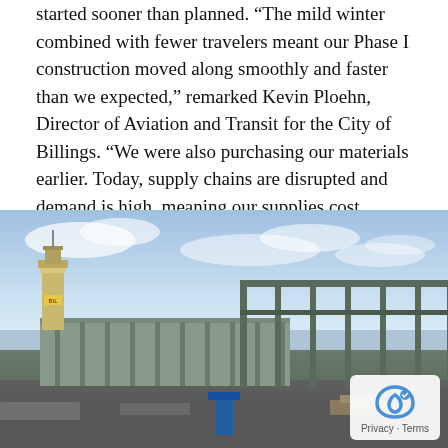started sooner than planned. “The mild winter combined with fewer travelers meant our Phase I construction moved along smoothly and faster than we expected,” remarked Kevin Ploehn, Director of Aviation and Transit for the City of Billings. “We were also purchasing our materials earlier. Today, supply chains are disrupted and demand is high, meaning our supplies cost roughly 30% more now than they did when we purchased them last year.”
[Figure (photo): Construction site photo showing the steel frame structure of an airport terminal being built, with a control tower visible on the left, blue sky with clouds in the background, and construction equipment including a blue lift in the foreground.]